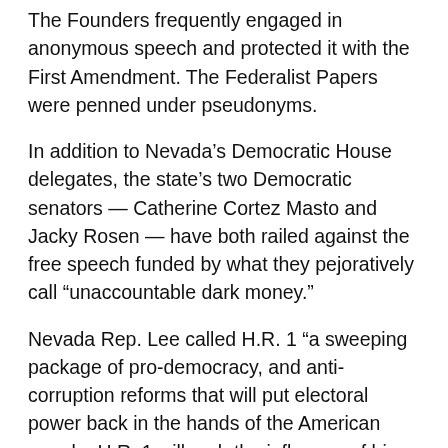The Founders frequently engaged in anonymous speech and protected it with the First Amendment. The Federalist Papers were penned under pseudonyms.
In addition to Nevada's Democratic House delegates, the state's two Democratic senators — Catherine Cortez Masto and Jacky Rosen — have both railed against the free speech funded by what they pejoratively call “unaccountable dark money.”
Nevada Rep. Lee called H.R. 1 “a sweeping package of pro-democracy, and anti-corruption reforms that will put electoral power back in the hands of the American people. H.R. 1 will curb the influence of big money in politics, make it easier, not harder for Americans to practice their fundamental right to vote, and ensure that politicians actually serve the public — not special interest groups.”